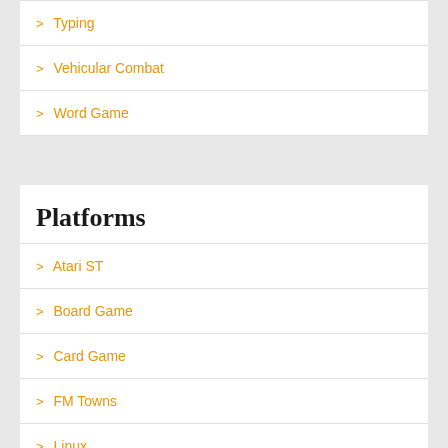> Typing
> Vehicular Combat
> Word Game
Platforms
> Atari ST
> Board Game
> Card Game
> FM Towns
> Linux